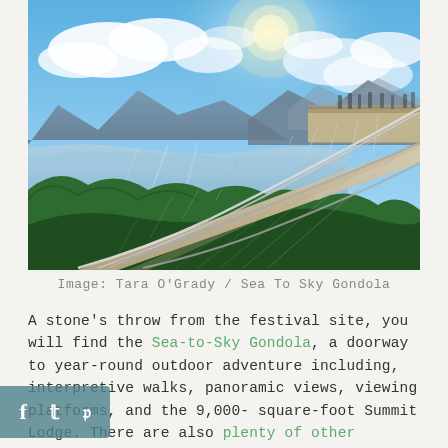[Figure (photo): A suspension bridge viewpoint at Sea to Sky Gondola, Squamish BC. The bridge extends into the foreground from a platform on the right. Mountains, a fjord/lake, forest, and bright sunlit sky with clouds are visible. Dramatic panoramic landscape photo.]
Image: Tara O'Grady / Sea To Sky Gondola
A stone's throw from the festival site, you will find the Sea-to-Sky Gondola, a doorway to year-round outdoor adventure including, interpretive walks, panoramic views, viewing platforms, and the 9,000-square-foot Summit Lodge. There are also plenty of other activities nearby that you can do, like hopping on